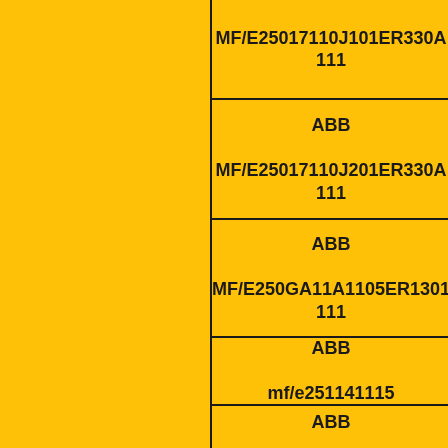MF/E25017110J101ER330A 111
ABB MF/E25017110J201ER330A 111
ABB MF/E250GA11A1105ER1301 111
ABB mf/e251141115
ABB MF/E50017210110ER1301111
ABB MF/E250F41101201ER13011